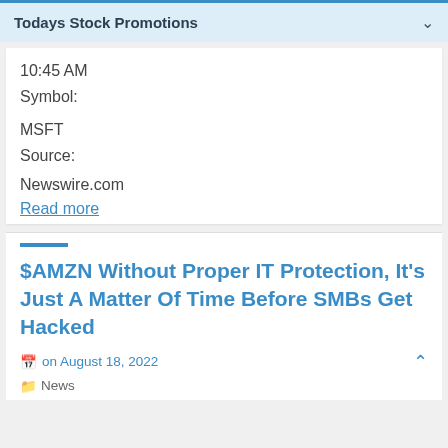Todays Stock Promotions
10:45 AM
Symbol:
MSFT
Source:
Newswire.com
Read more
$AMZN Without Proper IT Protection, It's Just A Matter Of Time Before SMBs Get Hacked
on August 18, 2022
News